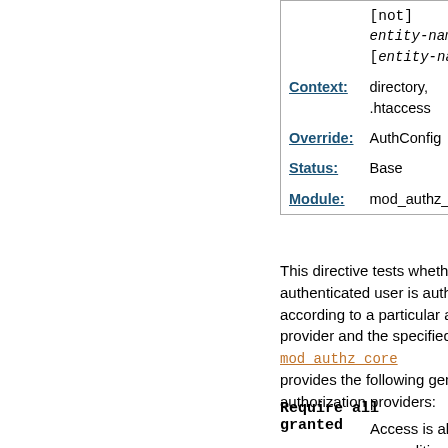|  | [not] entity-name [entity-name] ... |
| Context: | directory, .htaccess |
| Override: | AuthConfig |
| Status: | Base |
| Module: | mod_authz_core |
This directive tests whether an authenticated user is authorized according to a particular authorization provider and the specified restrictions. mod_authz_core provides the following generic authorization providers:
Require all granted
Access is allowed unconditionally.